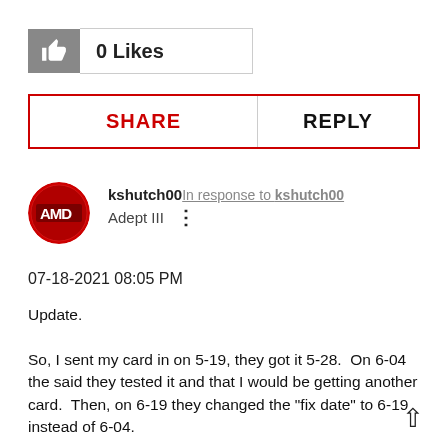[Figure (other): Like button with thumbs up icon showing 0 Likes]
SHARE | REPLY
[Figure (other): User avatar - AMD branded circular profile photo]
kshutch00 In response to kshutch00
Adept III
07-18-2021 08:05 PM
Update.

So, I sent my card in on 5-19, they got it 5-28.  On 6-04 the said they tested it and that I would be getting another card.  Then, on 6-19 they changed the "fix date" to 6-19 instead of 6-04.